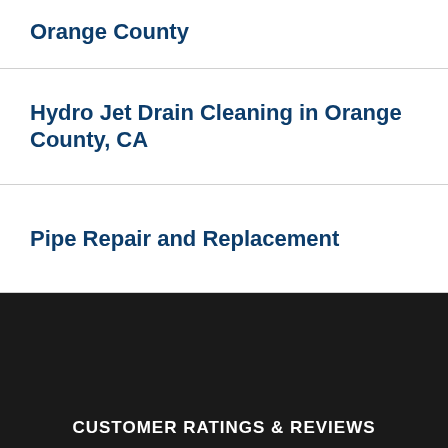Orange County
Hydro Jet Drain Cleaning in Orange County, CA
Pipe Repair and Replacement
CUSTOMER RATINGS & REVIEWS